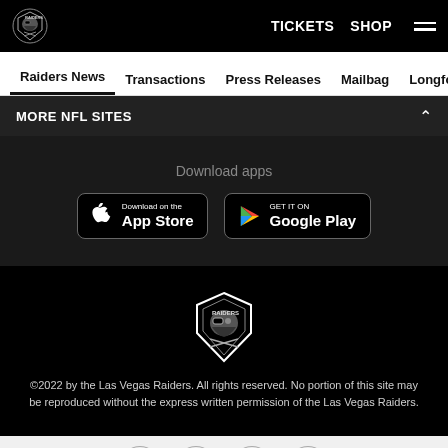Raiders | TICKETS | SHOP | [menu]
Raiders News | Transactions | Press Releases | Mailbag | Longform
MORE NFL SITES
Download apps
[Figure (screenshot): Download on the App Store button]
[Figure (screenshot): Get it on Google Play button]
[Figure (logo): Las Vegas Raiders shield logo]
©2022 by the Las Vegas Raiders. All rights reserved. No portion of this site may be reproduced without the express written permission of the Las Vegas Raiders.
Social share icons: Facebook, Twitter, Email, Link